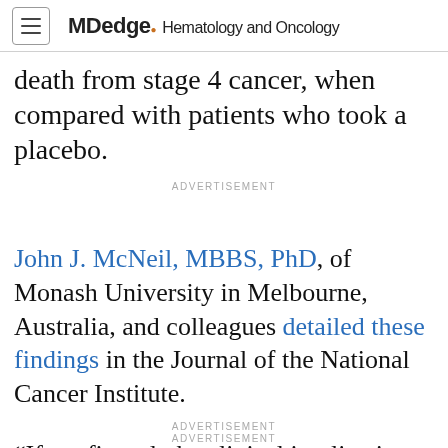MDedge Hematology and Oncology
death from stage 4 cancer, when compared with patients who took a placebo.
ADVERTISEMENT
John J. McNeil, MBBS, PhD, of Monash University in Melbourne, Australia, and colleagues detailed these findings in the Journal of the National Cancer Institute.
ADVERTISEMENT
“If confirmed, the clinical implications of these findings could be important for the use of
ADVERTISEMENT